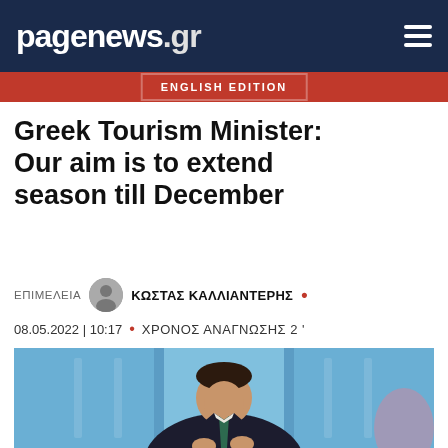pagenews.gr
ENGLISH EDITION
Greek Tourism Minister: Our aim is to extend season till December
ΕΠΙΜΕΛΕΙΑ  ΚΩΣΤΑΣ ΚΑΛΛΙΑΝΤΕΡΗΣ •
08.05.2022 | 10:17  •  ΧΡΟΝΟΣ ΑΝΑΓΝΩΣΗΣ 2'
[Figure (photo): Photo of a man in a dark suit with a green tie, seated at what appears to be a conference or forum setting with a blue backdrop]